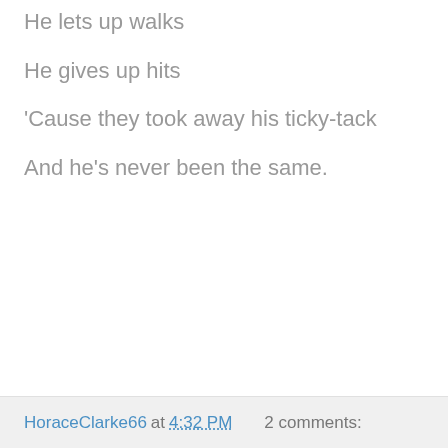He lets up walks
He gives up hits
'Cause they took away his ticky-tack
And he's never been the same.
HoraceClarke66 at 4:32 PM   2 comments: